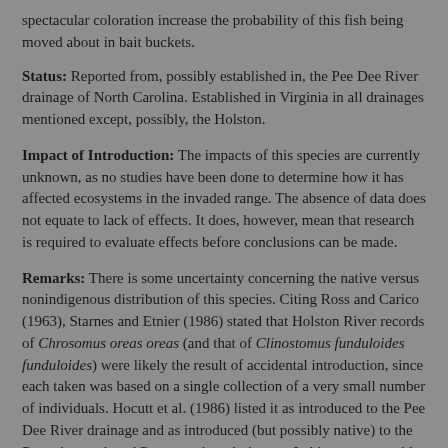spectacular coloration increase the probability of this fish being moved about in bait buckets.
Status: Reported from, possibly established in, the Pee Dee River drainage of North Carolina. Established in Virginia in all drainages mentioned except, possibly, the Holston.
Impact of Introduction: The impacts of this species are currently unknown, as no studies have been done to determine how it has affected ecosystems in the invaded range. The absence of data does not equate to lack of effects. It does, however, mean that research is required to evaluate effects before conclusions can be made.
Remarks: There is some uncertainty concerning the native versus nonindigenous distribution of this species. Citing Ross and Carico (1963), Starnes and Etnier (1986) stated that Holston River records of Chrosomus oreas oreas (and that of Clinostomus funduloides funduloides) were likely the result of accidental introduction, since each taken was based on a single collection of a very small number of individuals. Hocutt et al. (1986) listed it as introduced to the Pee Dee River drainage and as introduced (but possibly native) to the Rappahannock and Potomac river drainages. In his summary table on North Carolina fishes, Menhinick (1991) listed it as "probably introduced" to the Yadkin River drainage. In their summary table on Virginia fishes, Inkits